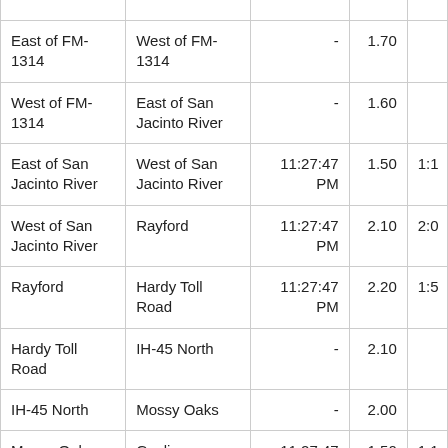| East of FM-1314 | West of FM-1314 | - | 1.70 |  |
| West of FM-1314 | East of San Jacinto River | - | 1.60 |  |
| East of San Jacinto River | West of San Jacinto River | 11:27:47 PM | 1.50 | 1:1 |
| West of San Jacinto River | Rayford | 11:27:47 PM | 2.10 | 2:0 |
| Rayford | Hardy Toll Road | 11:27:47 PM | 2.20 | 1:5 |
| Hardy Toll Road | IH-45 North | - | 2.10 |  |
| IH-45 North | Mossy Oaks | - | 2.00 |  |
| Mossy Oaks | Gosling | 11:27:47 PM | 1.50 | 1:1 |
| Gosling | Kuykendahl | - | 1.50 |  |
| Kuykendahl | FM-2920 | - | 2.00 |  |